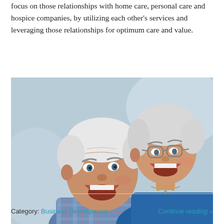focus on those relationships with home care, personal care and hospice companies, by utilizing each other's services and leveraging those relationships for optimum care and value.
[Figure (photo): Two elderly people, a man and a woman, laughing joyfully together. The man is in the foreground wearing a plaid shirt, and the woman is behind him wearing a blue top.]
Category: Business Development Continue reading »